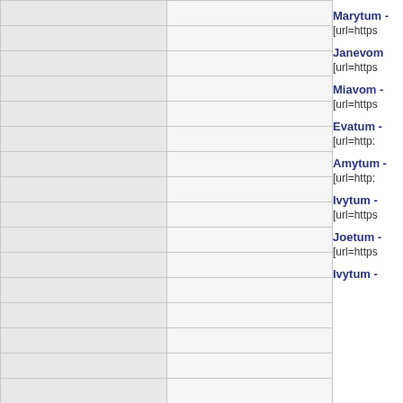|  |  |
|  |  |
|  |  |
|  |  |
|  |  |
|  |  |
|  |  |
|  |  |
|  |  |
|  |  |
|  |  |
|  |  |
|  |  |
|  |  |
|  |  |
|  |  |
Marytum -
[url=https
Janevom
[url=https
Miavom -
[url=https
Evatum -
[url=http:
Amytum -
[url=http:
Ivytum -
[url=https
Joetum -
[url=https
Ivytum -